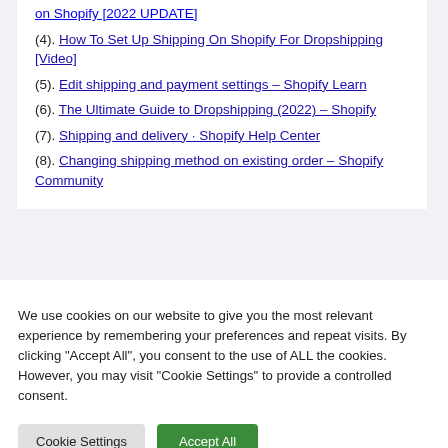on Shopify [2022 UPDATE]
(4). How To Set Up Shipping On Shopify For Dropshipping [Video]
(5). Edit shipping and payment settings – Shopify Learn
(6). The Ultimate Guide to Dropshipping (2022) – Shopify
(7). Shipping and delivery · Shopify Help Center
(8). Changing shipping method on existing order – Shopify Community
We use cookies on our website to give you the most relevant experience by remembering your preferences and repeat visits. By clicking "Accept All", you consent to the use of ALL the cookies. However, you may visit "Cookie Settings" to provide a controlled consent.